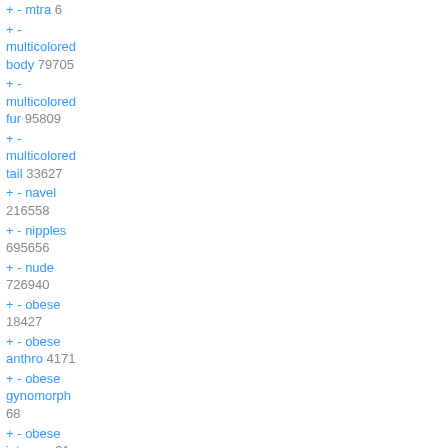+ - mtra 6
+ - multicolored body 79705
+ - multicolored fur 95809
+ - multicolored tail 33627
+ - navel 216558
+ - nipples 695656
+ - nude 726940
+ - obese 18427
+ - obese anthro 4171
+ - obese gynomorph 68
+ - obese intersex 91
+ - open mouth 526280
+ - overweight 116351